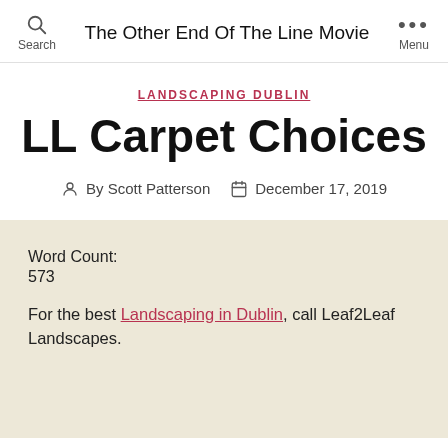Search   The Other End Of The Line Movie   Menu
LANDSCAPING DUBLIN
LL Carpet Choices
By Scott Patterson   December 17, 2019
Word Count:
573
For the best Landscaping in Dublin, call Leaf2Leaf Landscapes.